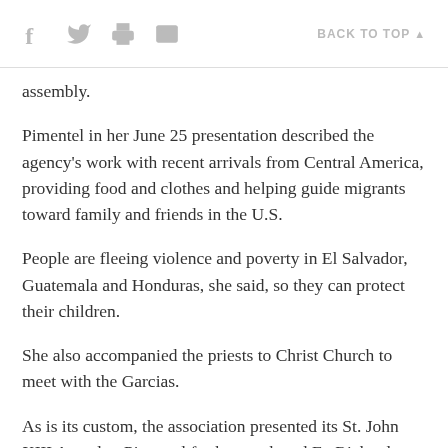f [twitter] [print] [email]   BACK TO TOP ▲
assembly.
Pimentel in her June 25 presentation described the agency's work with recent arrivals from Central America, providing food and clothes and helping guide migrants toward family and friends in the U.S.
People are fleeing violence and poverty in El Salvador, Guatemala and Honduras, she said, so they can protect their children.
She also accompanied the priests to Christ Church to meet with the Garcias.
As is its custom, the association presented its St. John XIII Award to Pimentel for her work and Fr. Richard Creason, a retired priest of the St. Louis Archdiocese, who is well-known for his social justice ministry.